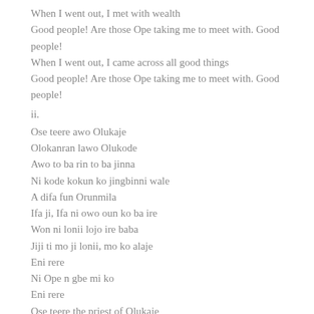When I went out, I met with wealth
Good people! Are those Ope taking me to meet with. Good people!
When I went out, I came across all good things
Good people! Are those Ope taking me to meet with. Good people!
ii.
Ose teere awo Olukaje
Olokanran lawo Olukode
Awo to ba rin to ba jinna
Ni kode kokun ko jingbinni wale
A difa fun Orunmila
Ifa ji, Ifa ni owo oun ko ba ire
Won ni lonii lojo ire baba
Jiji ti mo ji lonii, mo ko alaje
Eni rere
Ni Ope n gbe mi ko
Eni rere
Ose teere the priest of Olukaje